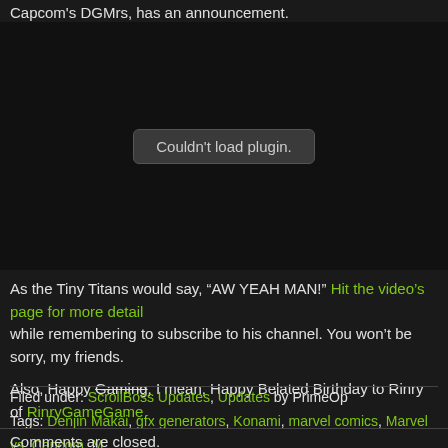Capcom's DGMrs, has an announcement.
[Figure (other): Embedded video plugin area showing 'Couldn't load plugin.' error message on black background]
As the Tiny Titans would say, "AW YEAH MAN!" Hit the video's page for more detail while remembering to subscribe to his channel. You won't be sorry, my friends.
Also, Happy Gaming [strikethrough], I mean, Happy Belated Birthday to Rinry of RinryGameGame
Filed under: ScrollBoss Updates, Updates by PrimeOp
Tags: Denjin Makai, gfx generators, Konami, marvel comics, Marvel vs. Capcom, M...
Comments are closed.